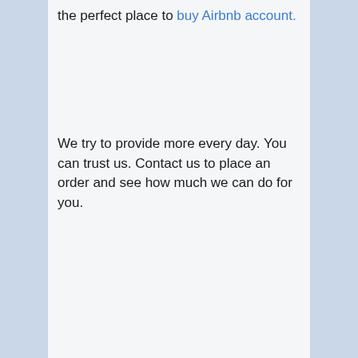the perfect place to buy Airbnb account.
We try to provide more every day. You can trust us. Contact us to place an order and see how much we can do for you.